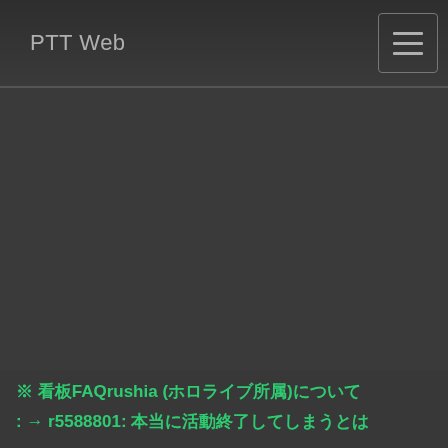PTT Web
※ 看板FAQrushia (ホロライブ所属)について
: → r5588801: 本当に活動終了してしまうとは